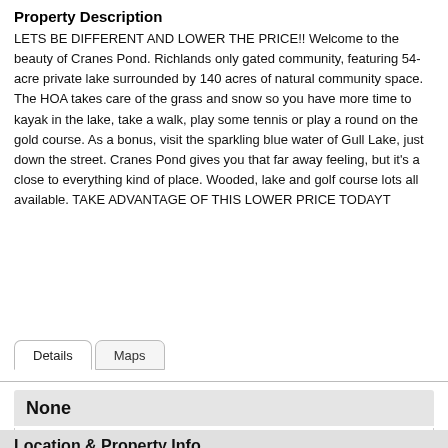Property Description
LETS BE DIFFERENT AND LOWER THE PRICE!! Welcome to the beauty of Cranes Pond. Richlands only gated community, featuring 54-acre private lake surrounded by 140 acres of natural community space. The HOA takes care of the grass and snow so you have more time to kayak in the lake, take a walk, play some tennis or play a round on the gold course. As a bonus, visit the sparkling blue water of Gull Lake, just down the street. Cranes Pond gives you that far away feeling, but it's a close to everything kind of place. Wooded, lake and golf course lots all available. TAKE ADVANTAGE OF THIS LOWER PRICE TODAYT
None
Current Price: $41,900
Location & Property Info